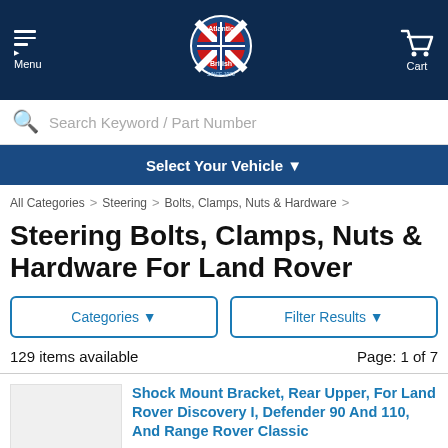Atlantic British — Menu | Cart
Search Keyword / Part Number
Select Your Vehicle ▾
All Categories > Steering > Bolts, Clamps, Nuts & Hardware
Steering Bolts, Clamps, Nuts & Hardware For Land Rover
Categories ▾
Filter Results ▾
129 items available
Page: 1 of 7
Shock Mount Bracket, Rear Upper, For Land Rover Discovery I, Defender 90 And 110, And Range Rover Classic
Item: NRC7981